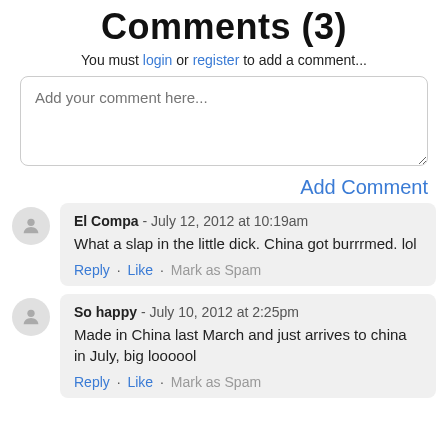Comments (3)
You must login or register to add a comment...
Add your comment here...
Add Comment
El Compa - July 12, 2012 at 10:19am
What a slap in the little dick. China got burrrmed. lol
Reply · Like · Mark as Spam
So happy - July 10, 2012 at 2:25pm
Made in China last March and just arrives to china in July, big loooool
Reply · Like · Mark as Spam